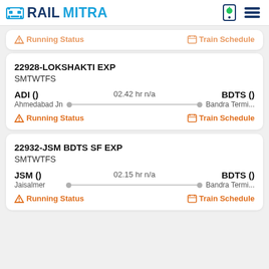RAILMITRA
Running Status   Train Schedule
22928-LOKSHAKTI EXP
SMTWTFS
ADI ()   02.42 hr n/a   BDTS ()
Ahmedabad Jn                Bandra Termi...
Running Status   Train Schedule
22932-JSM BDTS SF EXP
SMTWTFS
JSM ()   02.15 hr n/a   BDTS ()
Jaisalmer                    Bandra Termi...
Running Status   Train Schedule